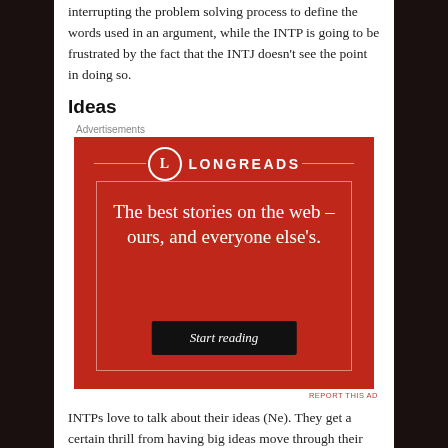interrupting the problem solving process to define the words used in an argument, while the INTP is going to be frustrated by the fact that the INTJ doesn't see the point in doing so.
Ideas
[Figure (other): Longreads advertisement: red background, circular L logo, tagline 'The best stories on the web – ours, and everyone else's.' with a 'Start reading' button.]
REPORT THIS AD
INTPs love to talk about their ideas (Ne). They get a certain thrill from having big ideas move through their mind, from exploring them. When they are discussing ideas they love...